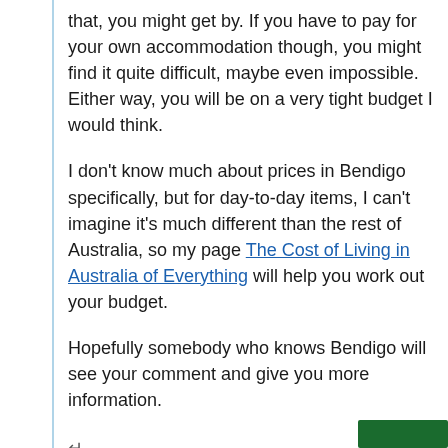that, you might get by. If you have to pay for your own accommodation though, you might find it quite difficult, maybe even impossible. Either way, you will be on a very tight budget I would think.
I don't know much about prices in Bendigo specifically, but for day-to-day items, I can't imagine it's much different than the rest of Australia, so my page The Cost of Living in Australia of Everything will help you work out your budget.
Hopefully somebody who knows Bendigo will see your comment and give you more information.
↵